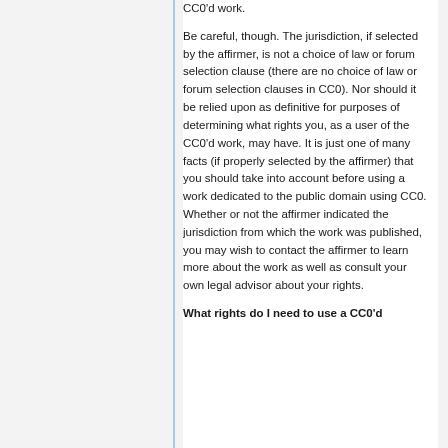CC0'd work.
Be careful, though. The jurisdiction, if selected by the affirmer, is not a choice of law or forum selection clause (there are no choice of law or forum selection clauses in CC0). Nor should it be relied upon as definitive for purposes of determining what rights you, as a user of the CC0'd work, may have. It is just one of many facts (if properly selected by the affirmer) that you should take into account before using a work dedicated to the public domain using CC0. Whether or not the affirmer indicated the jurisdiction from which the work was published, you may wish to contact the affirmer to learn more about the work as well as consult your own legal advisor about your rights.
What rights do I need to use a CC0'd